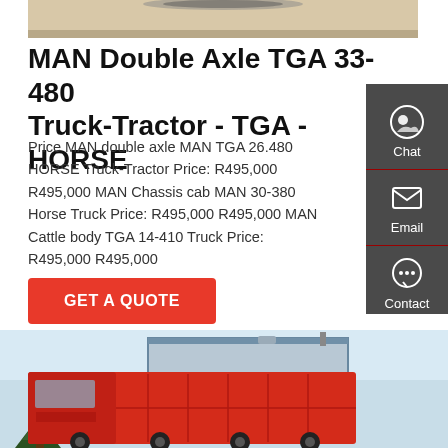[Figure (photo): Top portion of a truck/vehicle photo, cropped]
MAN Double Axle TGA 33-480 Truck-Tractor - TGA - HORSE
Price MAN double axle MAN TGA 26.480 HORSE Truck-Tractor Price: R495,000 R495,000 MAN Chassis cab MAN 30-380 Horse Truck Price: R495,000 R495,000 MAN Cattle body TGA 14-410 Truck Price: R495,000 R495,000
[Figure (other): GET A QUOTE button - red rounded rectangle]
[Figure (photo): Red dump truck parked in front of a building with trees]